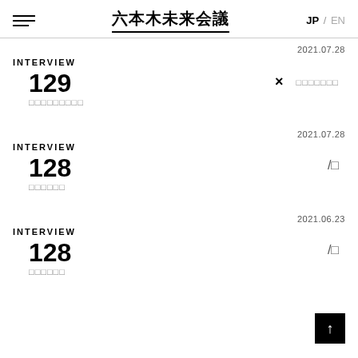六本木未来会議  JP / EN
2021.07.28
INTERVIEW
129 × □□□□□□□
□□□□□□□□□
2021.07.28
INTERVIEW
128 /□
□□□□□□
2021.06.23
INTERVIEW
128 /□
□□□□□□